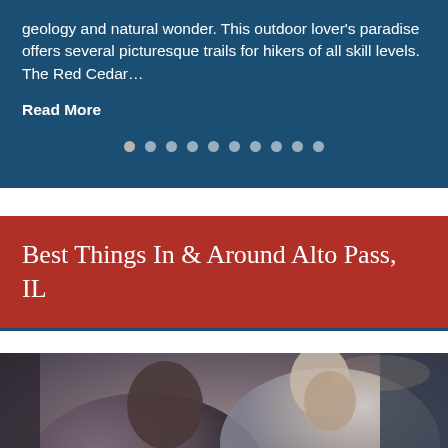geology and natural wonder. This outdoor lover's paradise offers several picturesque trails for hikers of all skill levels. The Red Cedar…
Read More
Best Things In & Around Alto Pass, IL
[Figure (photo): Overhead view of two people dining at a restaurant table, sharing a meal]